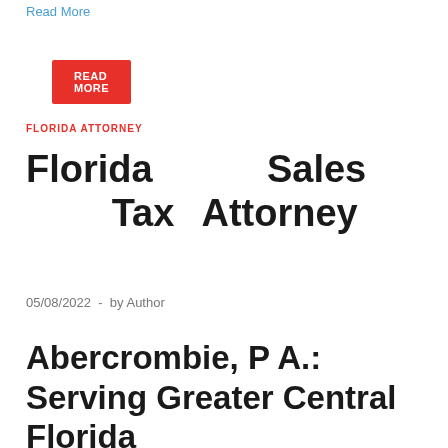Read More
READ MORE
FLORIDA ATTORNEY
Florida Sales Tax Attorney
05/08/2022  -  by Author
Abercrombie, P A.: Serving Greater Central Florida